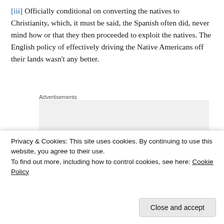[iii] Officially conditional on converting the natives to Christianity, which, it must be said, the Spanish often did, never mind how or that they then proceeded to exploit the natives. The English policy of effectively driving the Native Americans off their lands wasn't any better.
Advertisements
[Figure (other): Advertisement banner for P2 (WordPress.com product) showing logo icon and bold headline text: 'Getting your team on the same page is easy.']
Privacy & Cookies: This site uses cookies. By continuing to use this website, you agree to their use.
To find out more, including how to control cookies, see here: Cookie Policy